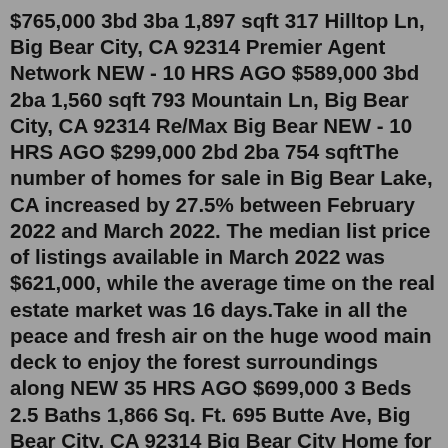$765,000 3bd 3ba 1,897 sqft 317 Hilltop Ln, Big Bear City, CA 92314 Premier Agent Network NEW - 10 HRS AGO $589,000 3bd 2ba 1,560 sqft 793 Mountain Ln, Big Bear City, CA 92314 Re/Max Big Bear NEW - 10 HRS AGO $299,000 2bd 2ba 754 sqftThe number of homes for sale in Big Bear Lake, CA increased by 27.5% between February 2022 and March 2022. The median list price of listings available in March 2022 was $621,000, while the average time on the real estate market was 16 days.Take in all the peace and fresh air on the huge wood main deck to enjoy the forest surroundings along NEW 35 HRS AGO $699,000 3 Beds 2.5 Baths 1,866 Sq. Ft. 695 Butte Ave, Big Bear City, CA 92314 Big Bear City Home for Sale: Lovely mountain home is located on the quieter east end of the valley.Furnishings. $849,000. 3 Beds. 2.5 Baths. 2,275 Sq. Ft. 337 N Meadow Cir, Big Bear Lake, CA 92315. Log Homes - Big Bear Lake Home for Sale: This a one-of-a-kind, almost ski in/ski out location with about a 30 step walk across the street, next to Bear Mountain Ski Resort! Has lake view...